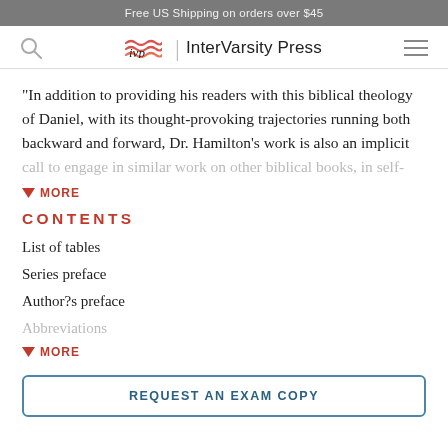Free US Shipping on orders over $45
[Figure (logo): InterVarsity Press logo with IVP wavy mark and navigation icons]
"In addition to providing his readers with this biblical theology of Daniel, with its thought-provoking trajectories running both backward and forward, Dr. Hamilton's work is also an implicit call to engage in similar work on other biblical books, in self-
MORE
CONTENTS
List of tables
Series preface
Author?s preface
Abbreviations
MORE
REQUEST AN EXAM COPY